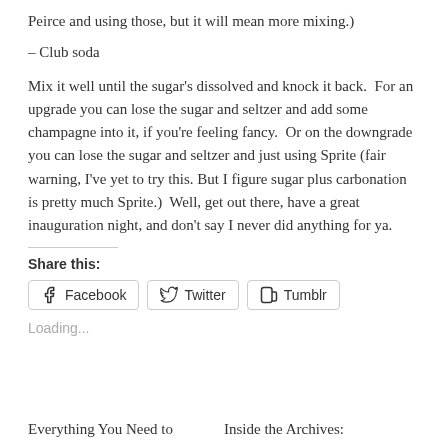Peirce and using those, but it will mean more mixing.)
– Club soda
Mix it well until the sugar's dissolved and knock it back. For an upgrade you can lose the sugar and seltzer and add some champagne into it, if you're feeling fancy. Or on the downgrade you can lose the sugar and seltzer and just using Sprite (fair warning, I've yet to try this. But I figure sugar plus carbonation is pretty much Sprite.) Well, get out there, have a great inauguration night, and don't say I never did anything for ya.
Share this:
Facebook  Twitter  Tumblr
Loading...
Everything You Need to
Inside the Archives: